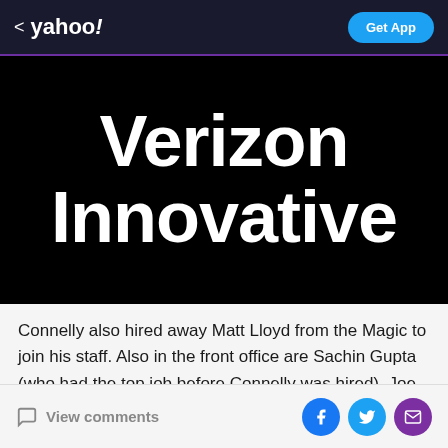< yahoo! | Get App
Verizon Innovative
Connelly also hired away Matt Lloyd from the Magic to join his staff. Also in the front office are Sachin Gupta (who had the top job before Connelly was hired), Joe Branch and Manny Rohan.
View comments